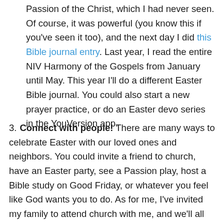Passion of the Christ, which I had never seen. Of course, it was powerful (you know this if you've seen it too), and the next day I did this Bible journal entry. Last year, I read the entire NIV Harmony of the Gospels from January until May. This year I'll do a different Easter Bible journal. You could also start a new prayer practice, or do an Easter devo series in the YouVersion app.
3. Connect with people! There are many ways to celebrate Easter with our loved ones and neighbors. You could invite a friend to church, have an Easter party, see a Passion play, host a Bible study on Good Friday, or whatever you feel like God wants you to do. As for me, I've invited my family to attend church with me, and we'll all go out to eat afterwards.